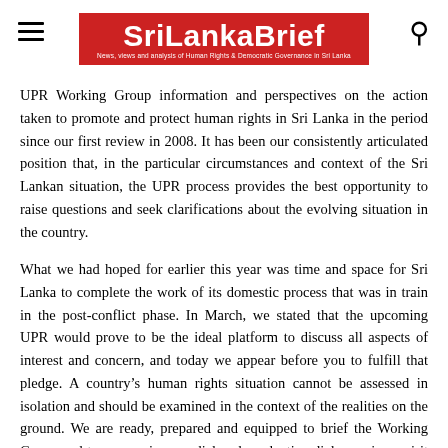SriLankaBrief — News, views and analysis of Human Rights & Democratic Governance in Sri Lanka
UPR Working Group information and perspectives on the action taken to promote and protect human rights in Sri Lanka in the period since our first review in 2008. It has been our consistently articulated position that, in the particular circumstances and context of the Sri Lankan situation, the UPR process provides the best opportunity to raise questions and seek clarifications about the evolving situation in the country.
What we had hoped for earlier this year was time and space for Sri Lanka to complete the work of its domestic process that was in train in the post-conflict phase. In March, we stated that the upcoming UPR would prove to be the ideal platform to discuss all aspects of interest and concern, and today we appear before you to fulfill that pledge. A country's human rights situation cannot be assessed in isolation and should be examined in the context of the realities on the ground. We are ready, prepared and equipped to brief the Working Group and to engage in a cordial and productive dialogue, in a spirit of candour and openness, as to the promotion and protection of human rights in Sri Lanka. We will also engage